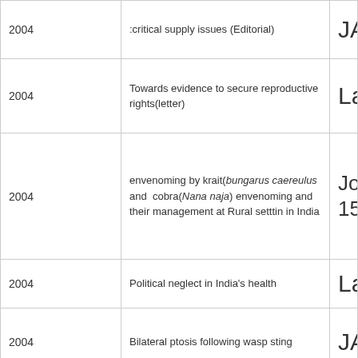| Year | Title | Journal |
| --- | --- | --- |
| 2004 | :critical supply issues (Editorial) | JAPI;54 |
| 2004 | Towards evidence to secure reproductive rights(letter) | Lancet |
| 2004 | envenoming by krait(bungarus caereulus and cobra(Nana naja) envenoming and their management at Rural setttin in India | Journa 15;4:2 |
| 2004 | Political neglect in India's health | Lancet |
| 2004 | Bilateral ptosis following wasp sting | JAPI;52 |
| 2005 | Management of scorpion sting in rural setting: what is role of | J. anim JATV;Y |